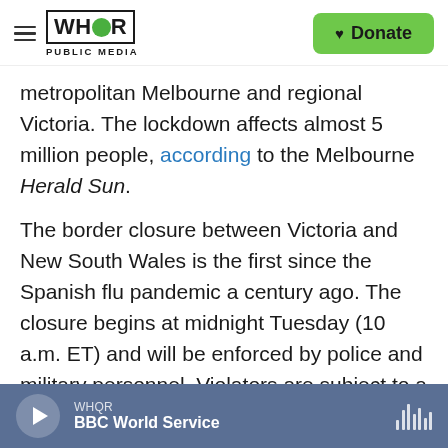WHQR PUBLIC MEDIA | Donate
metropolitan Melbourne and regional Victoria. The lockdown affects almost 5 million people, according to the Melbourne Herald Sun.
The border closure between Victoria and New South Wales is the first since the Spanish flu pandemic a century ago. The closure begins at midnight Tuesday (10 a.m. ET) and will be enforced by police and military personnel. Violators are subject to a fine of 11,000 Australian dollars ($7,630) and up to six months incarceration.
Elsewhere in Australia coronavirus cases have all
WHQR | BBC World Service